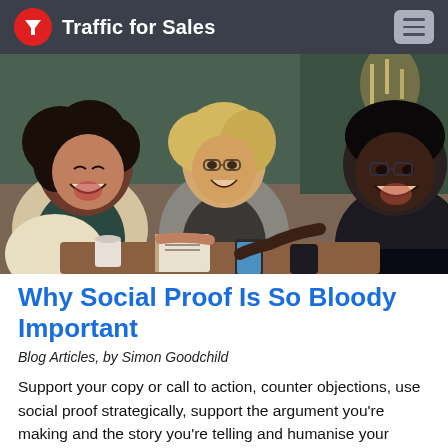Traffic for Sales
[Figure (photo): Three people sitting at a table in a restaurant or café, smiling and laughing. One woman with curly dark hair on the left, a blonde woman in the middle wearing glasses and a grey blazer, and a man on the right in a dark suit. Books, notebooks, and phones visible on the table.]
Why Social Proof Is So Bloody Important
Blog Articles, by Simon Goodchild
Support your copy or call to action, counter objections, use social proof strategically, support the argument you're making and the story you're telling and humanise your marketing with social proof.